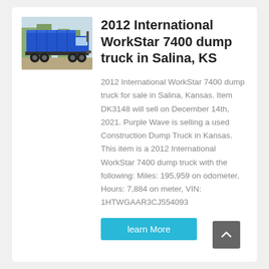[Figure (photo): Blue dump truck (2012 International WorkStar 7400) viewed from rear-left angle, parked outdoors with trees in background.]
2012 International WorkStar 7400 dump truck in Salina, KS
2012 International WorkStar 7400 dump truck for sale in Salina, Kansas. Item DK3148 will sell on December 14th, 2021. Purple Wave is selling a used Construction Dump Truck in Kansas. This item is a 2012 International WorkStar 7400 dump truck with the following: Miles: 195,959 on odometer, Hours: 7,884 on meter, VIN: 1HTWGAAR3CJ554093